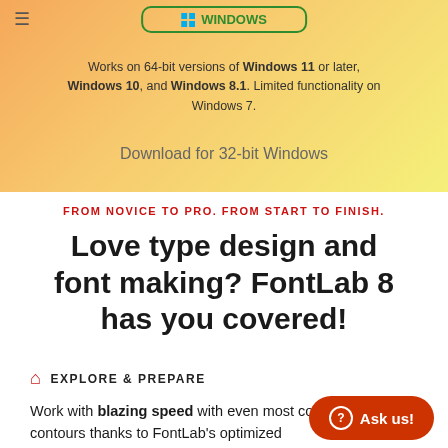[Figure (screenshot): Windows download button with green border and Windows logo icon]
Works on 64-bit versions of Windows 11 or later, Windows 10, and Windows 8.1. Limited functionality on Windows 7.
Download for 32-bit Windows
FROM NOVICE TO PRO. FROM START TO FINISH.
Love type design and font making? FontLab 8 has you covered!
EXPLORE & PREPARE
Work with blazing speed with even most complex contours thanks to FontLab's optimized